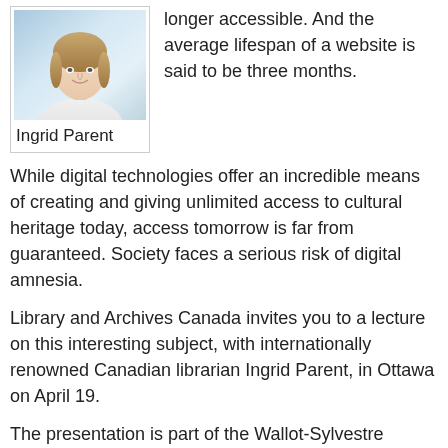[Figure (photo): Photo of Ingrid Parent, a woman with light background]
Ingrid Parent
longer accessible. And the average lifespan of a website is said to be three months.
While digital technologies offer an incredible means of creating and giving unlimited access to cultural heritage today, access tomorrow is far from guaranteed. Society faces a serious risk of digital amnesia.
Library and Archives Canada invites you to a lecture on this interesting subject, with internationally renowned Canadian librarian Ingrid Parent, in Ottawa on April 19.
The presentation is part of the Wallot-Sylvestre Seminars organized by Library and Archives Canada. These lectures promote the exchange of ideas in fields such as library science, information science, archival science and history.
Over the course of her career, Ms. Parent has been involved with a number of international information associations, including UNESCO, the International Publishers Association, the ISSN International Network,